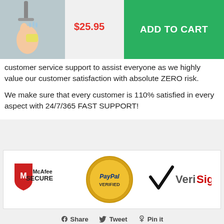[Figure (photo): Photo of hands washing dishes under a faucet]
$25.95
ADD TO CART
customer service support to assist everyone as we highly value our customer satisfaction with absolute ZERO risk.
We make sure that every customer is 110% satisfied in every aspect with 24/7/365 FAST SUPPORT!
[Figure (logo): McAfee SECURE, PayPal Verified, VeriSign trust badges]
Share  Tweet  Pin it